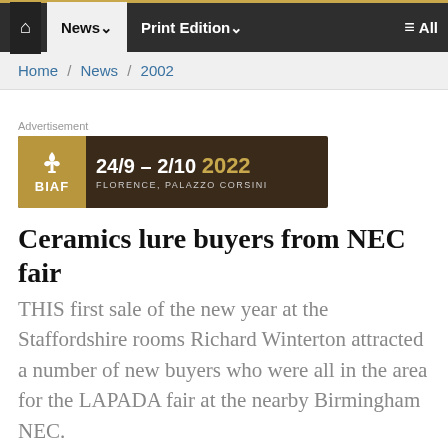Home / News / 2002
[Figure (other): BIAF advertisement banner: 24/9 - 2/10 2022, Florence, Palazzo Corsini]
Ceramics lure buyers from NEC fair
THIS first sale of the new year at the Staffordshire rooms Richard Winterton attracted a number of new buyers who were all in the area for the LAPADA fair at the nearby Birmingham NEC.